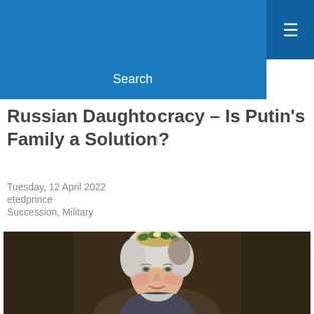Search
Russian Daughtocracy – Is Putin's Family a Solution?
Tuesday, 12 April 2022
etedprince
Succession, Military
[Figure (photo): Portrait painting of a woman (Catherine the Great) wearing a tiara/crown with floral decoration, white powdered hair, in classical 18th-century style against a dark brown background.]